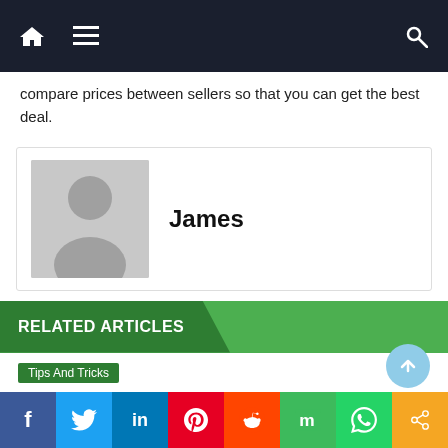Navigation bar with home, menu, and search icons
compare prices between sellers so that you can get the best deal.
[Figure (illustration): Author avatar placeholder with grey silhouette person icon]
James
RELATED ARTICLES
Tips And Tricks
How to fix Minecraft internal server error 500
June 7, 2021   James
Social share bar: Facebook, Twitter, LinkedIn, Pinterest, Reddit, Mix, WhatsApp, Share